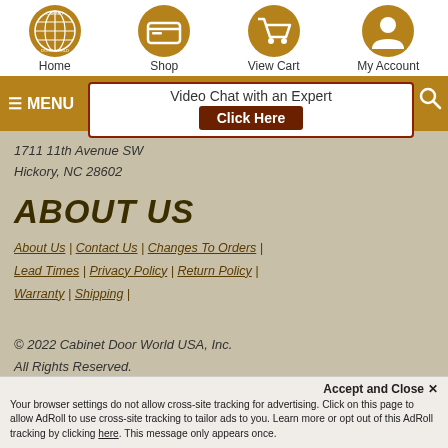Home | Shop | View Cart | My Account
[Figure (screenshot): Navigation menu bar with MENU, Video Chat with an Expert / Click Here box, and search icon]
1711 11th Avenue SW
Hickory, NC 28602
ABOUT US
About Us | Contact Us | Changes To Orders | Lead Times | Privacy Policy | Return Policy | Warranty | Shipping |
© 2022 Cabinet Door World USA, Inc.
All Rights Reserved.
Accept and Close ✕
Your browser settings do not allow cross-site tracking for advertising. Click on this page to allow AdRoll to use cross-site tracking to tailor ads to you. Learn more or opt out of this AdRoll tracking by clicking here. This message only appears once.